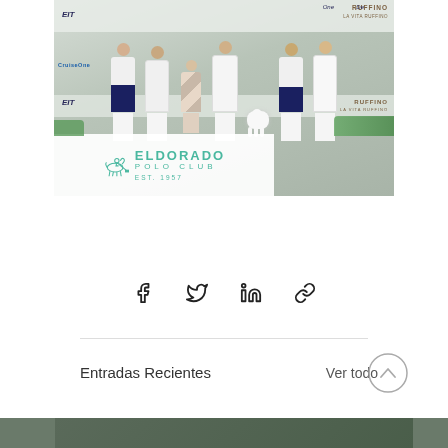[Figure (photo): Group photo of polo players and guests in white uniforms at Eldorado Polo Club event, with sponsor banners (Ruffino, CruiseOne, EIT) in background, a white fluffy dog visible. Eldorado Polo Club logo overlay with polo player icon, text ELDORADO POLO CLUB EST 1957.]
[Figure (infographic): Social share bar with four icons: Facebook (f), Twitter (bird), LinkedIn (in), and link/chain icon]
Entradas Recientes
Ver todo
[Figure (photo): Partial thumbnail strip of recent blog post images at bottom of page]